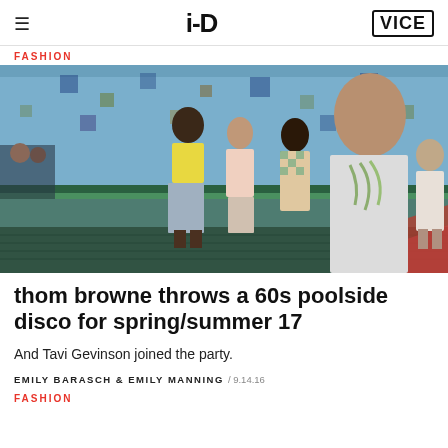i-D | VICE
FASHION
[Figure (photo): Fashion show runway photo showing models wearing spring/summer 17 Thom Browne collection at a poolside venue with colorful tiled backdrop]
thom browne throws a 60s poolside disco for spring/summer 17
And Tavi Gevinson joined the party.
EMILY BARASCH & EMILY MANNING / 9.14.16
FASHION